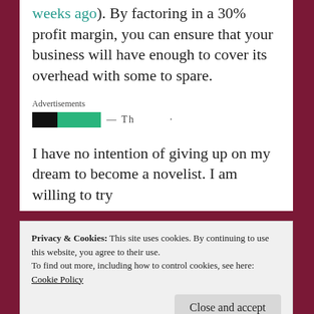weeks ago). By factoring in a 30% profit margin, you can ensure that your business will have enough to cover its overhead with some to spare.
[Figure (other): Advertisements banner with black and green logo elements and partial text]
I have no intention of giving up on my dream to become a novelist. I am willing to try
Privacy & Cookies: This site uses cookies. By continuing to use this website, you agree to their use.
To find out more, including how to control cookies, see here:
Cookie Policy
Close and accept
average creative writer is well under the